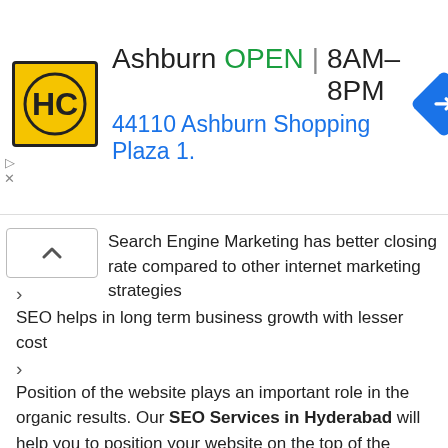[Figure (advertisement): HC logo ad banner showing Ashburn location, OPEN status, hours 8AM-8PM, address 44110 Ashburn Shopping Plaza 1., and a navigation/directions icon]
Search Engine Marketing has better closing rate compared to other internet marketing strategies
SEO helps in long term business growth with lesser cost
Position of the website plays an important role in the organic results. Our SEO Services in Hyderabad will help you to position your website on the top of the search engine.
People trust the websites that are top on the search engine listings. Our SEO Company in Hyderabad gives your website a brand in the eyes of the users.
There are millions of websites on the web. And it is too difficult to stand out of the competition. With our services and our expert SEO team will make your brand stand out from the rest and will increase your ROI